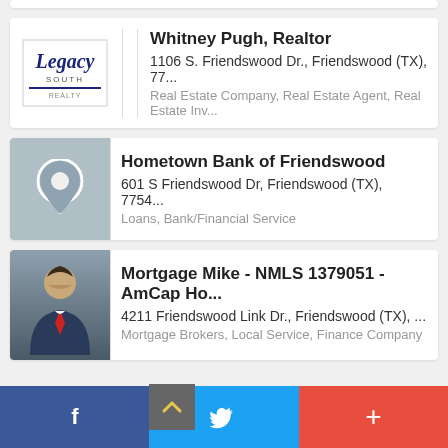[Figure (screenshot): Partial top card (cropped at top)]
Whitney Pugh, Realtor
1106 S. Friendswood Dr., Friendswood (TX), 77...
Real Estate Company, Real Estate Agent, Real Estate Inv...
Hometown Bank of Friendswood
601 S Friendswood Dr, Friendswood (TX), 7754...
Loans, Bank/Financial Service
Mortgage Mike - NMLS 1379051 - AmCap Ho...
4211 Friendswood Link Dr., Friendswood (TX), ...
Mortgage Brokers, Local Service, Finance Company
Religion